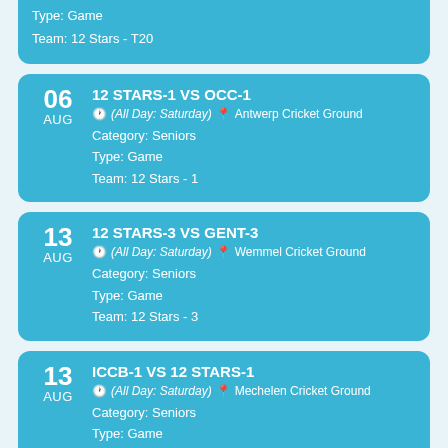Type: Game
Team: 12 Stars - T20
06 AUG — 12 STARS-1 VS OCC-1
(All Day: Saturday) Antwerp Cricket Ground
Category: Seniors
Type: Game
Team: 12 Stars - 1
13 AUG — 12 STARS-3 VS GENT-3
(All Day: Saturday) Wemmel Cricket Ground
Category: Seniors
Type: Game
Team: 12 Stars - 3
13 AUG — ICCB-1 VS 12 STARS-1
(All Day: Saturday) Mechelen Cricket Ground
Category: Seniors
Type: Game
Team: 12 Stars - 1